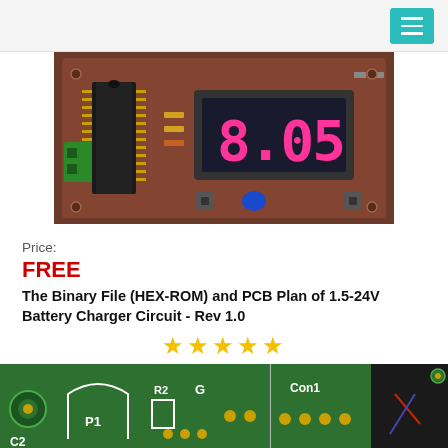[Figure (photo): Photo of a PCB (printed circuit board) for a 1.5-24V Battery Charger Circuit showing a microcontroller IC, red 7-segment LED display showing '8.05', green terminal block, push buttons, and other components on a brown PCB.]
Price:
FREE
The Binary File (HEX-ROM) and PCB Plan of 1.5-24V Battery Charger Circuit - Rev 1.0
[Figure (other): Five gold/yellow star rating symbols indicating a 5-star rating.]
[Figure (photo): Partial photo of a green PCB showing component labels C2, P1, R2, G, Con1, 5V, D1, with a photo of electronic components on the right side partially visible.]